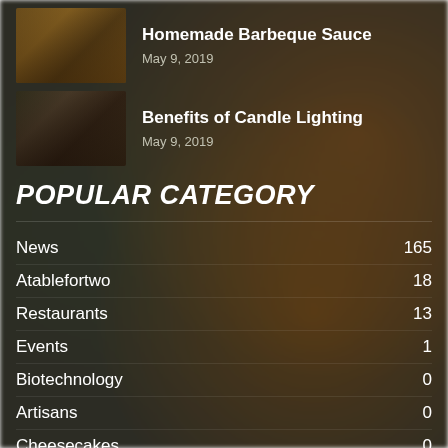[Figure (photo): Thumbnail photo of grilled food/barbeque on a dark background]
Homemade Barbeque Sauce
May 9, 2019
[Figure (photo): Thumbnail photo of a couple dining by candlelight]
Benefits of Candle Lighting
May 9, 2019
POPULAR CATEGORY
News  165
Atablefortwo  18
Restaurants  13
Events  1
Biotechnology  0
Artisans  0
Cheesecakes  0